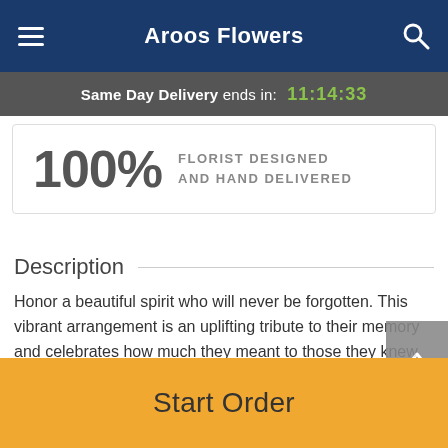Aroos Flowers
Same Day Delivery ends in: 11:14:33
100% FLORIST DESIGNED AND HAND DELIVERED
Description
Honor a beautiful spirit who will never be forgotten. This vibrant arrangement is an uplifting tribute to their memory and celebrates how much they meant to those they knew and loved.
Gerbera daisies, roses, snapdragons, and more are
Start Order